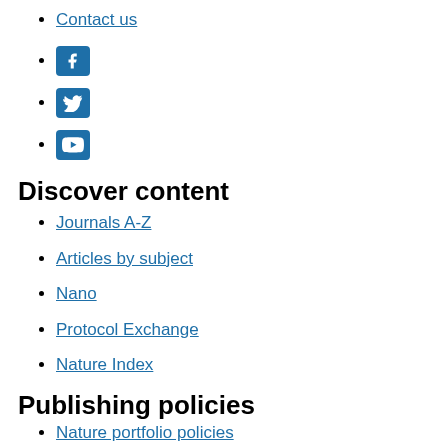Contact us
[Facebook icon]
[Twitter icon]
[YouTube icon]
Discover content
Journals A-Z
Articles by subject
Nano
Protocol Exchange
Nature Index
Publishing policies
Nature portfolio policies